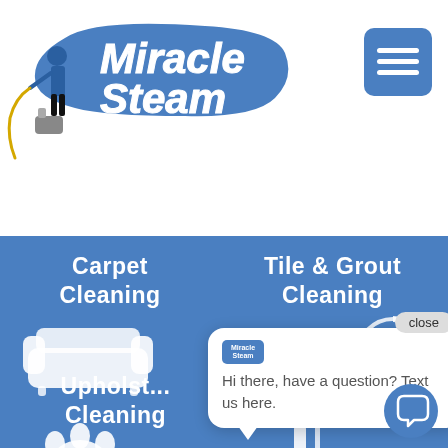[Figure (logo): Miracle Steam logo with a person using a steam cleaning machine and the text 'Miracle Steam' on a blue paint stroke background]
[Figure (infographic): Hamburger menu icon (three horizontal lines) on a blue rounded square button]
Carpet Cleaning
Tile & Grout Cleaning
[Figure (illustration): White icon of a sofa/couch]
[Figure (illustration): White icon of tile/grout pattern]
Upholst... Cleaning
Cleaning
Hi there, have a question? Text us here.
[Figure (illustration): White paw print icon]
[Figure (illustration): White person with cleaning equipment icon]
[Figure (illustration): Blue chat bubble button with speech icon]